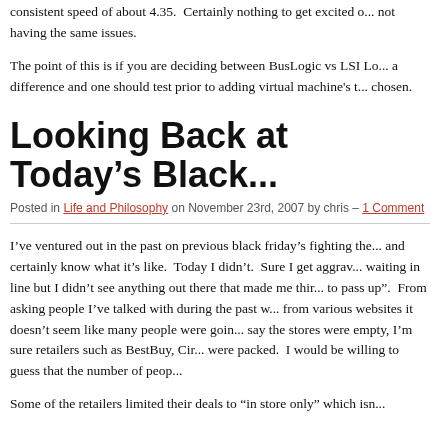consistent speed of about 4.35.  Certainly nothing to get excited o... not having the same issues.
The point of this is if you are deciding between BusLogic vs LSI Lo... a difference and one should test prior to adding virtual machine's t... chosen.
Looking Back at Today's Black...
Posted in Life and Philosophy on November 23rd, 2007 by chris – 1 Comment
I've ventured out in the past on previous black friday's fighting the... and certainly know what it's like.  Today I didn't.  Sure I get aggrav... waiting in line but I didn't see anything out there that made me thir... to pass up".  From asking people I've talked with during the past w... from various websites it doesn't seem like many people were goin... say the stores were empty, I'm sure retailers such as BestBuy, Cir... were packed.  I would be willing to guess that the number of peop...
Some of the retailers limited their deals to “in store only” which isn...